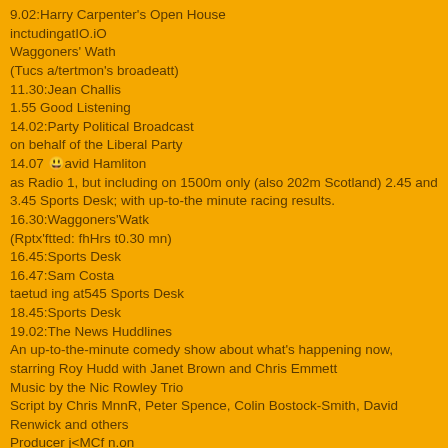9.02:Harry Carpenter's Open House
inctudingatIO.iO
Waggoners' Wath
(Tucs a/tertmon's broadeatt)
11.30:Jean Challis
1.55 Good Listening
14.02:Party Political Broadcast
on behalf of the Liberal Party
14.07 David Hamliton
as Radio 1, but including on 1500m only (also 202m Scotland) 2.45 and 3.45 Sports Desk; with up-to-the minute racing results.
16.30:Waggoners'Watk
(Rptx'ftted: fhHrs t0.30 mn)
16.45:Sports Desk
16.47:Sam Costa
taetud ing at545 Sports Desk
18.45:Sports Desk
19.02:The News Huddlines
An up-to-the-minute comedy show about what's happening now, starring Roy Hudd with Janet Brown and Chris Emmett
Music by the Nic Rowley Trio
Script by Chris MnnR, Peter Spence, Colin Bostock-Smith, David Renwick and others
Producer j<MCf n.on
Contributors
Unknown: Roy Hudd
Unknown: Jankt Brown
Script By: Chris Mnnr.
Script By: Peter Sfence.
19.30:How the West was Sung